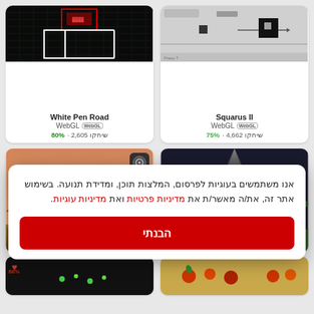[Figure (screenshot): White Pen Road game card with WebGL badge, dark grid screenshot, 2,605 plays, 80% rating]
[Figure (screenshot): Squarus II game card with WebGL badge, minimalist puzzle screenshot, 4,662 plays, 75% rating]
[Figure (screenshot): Western shooter game screenshot (cowboys in desert landscape)]
[Figure (screenshot): Platform game screenshot (spotlight, dark background)]
אנו משתמשים בעוגיות לפרסום, המלצות תוכן, ומדידת תנועה. בשימוש אתר זה, את/ה מאשר/ת את מדיניות פרטיות ואת מדיניות עוגיות.
הבנתי